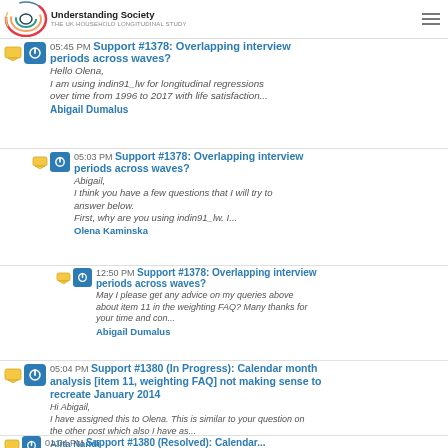Understanding Society - THE UK HOUSEHOLD LONGITUDINAL STUDY
05:45 PM Support #1378: Overlapping interview periods across waves? Hello Olena, I am using indin91_lw for longitudinal regressions over time from 1996 to 2017 with life satisfaction... Abigail Dumalus
05:03 PM Support #1378: Overlapping interview periods across waves? Abigail, I think you have a few questions that I will try to answer below. First, why are you using indin91_lw. I... Olena Kaminska
12:50 PM Support #1378: Overlapping interview periods across waves? May I please get any advice on my queries above about item 11 in the weighting FAQ? Many thanks for your time and con... Abigail Dumalus
05:04 PM Support #1380 (In Progress): Calendar month analysis [item 11, weighting FAQ] not making sense to recreate January 2014 Hi Abigail, I have assigned this to Olena. This is similar to your question on the other post which also I have as... Alita Nandi
01:04 PM Support #1380 (Resolved): Calendar...